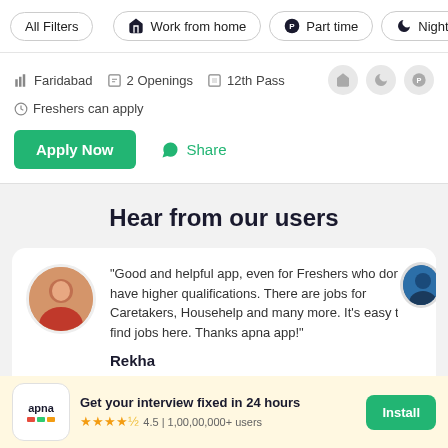All Filters | Work from home | Part time | Night Sh
Faridabad   2 Openings   12th Pass   Freshers can apply
Apply Now   Share
Hear from our users
"Good and helpful app, even for Freshers who don't have higher qualifications. There are jobs for Caretakers, Househelp and many more. It's easy to find jobs here. Thanks apna app!"
Rekha
Get your interview fixed in 24 hours
4.5 | 1,00,00,000+ users